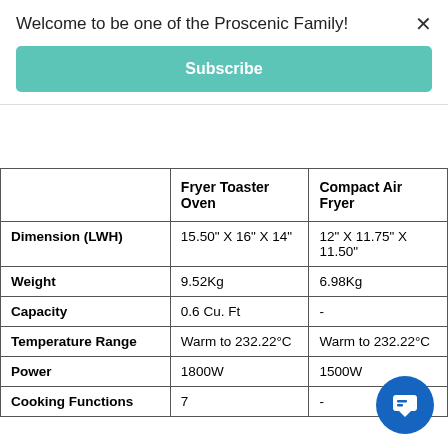Welcome to be one of the Proscenic Family!
Subscribe
|  | Fryer Toaster Oven | Compact Air Fryer |
| --- | --- | --- |
| Dimension (LWH) | 15.50" X 16" X 14" | 12" X 11.75" X 11.50" |
| Weight | 9.52Kg | 6.98Kg |
| Capacity | 0.6 Cu. Ft | - |
| Temperature Range | Warm to 232.22°C | Warm to 232.22°C |
| Power | 1800W | 1500W |
| Cooking Functions | 7 | - |